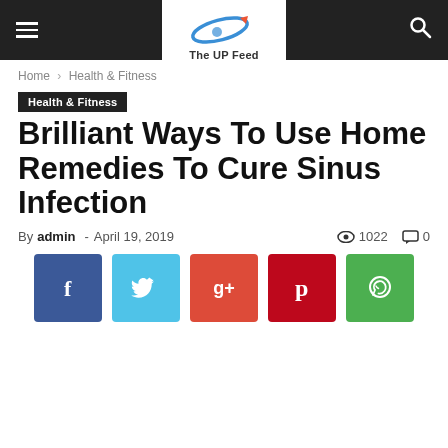The UP Feed — site navigation header
Home › Health & Fitness
Health & Fitness
Brilliant Ways To Use Home Remedies To Cure Sinus Infection
By admin - April 19, 2019   1022   0
[Figure (infographic): Social share buttons: Facebook (blue), Twitter (cyan), Google+ (orange-red), Pinterest (dark red), WhatsApp (green)]